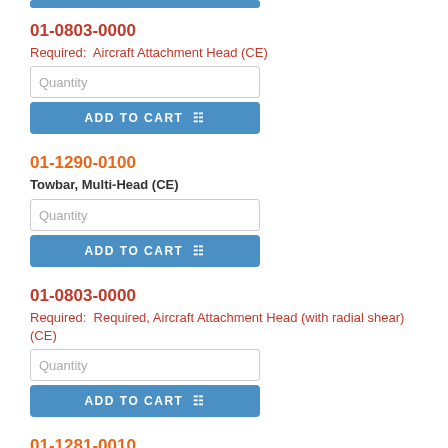[Figure (screenshot): Blue 'Add to Cart' button (partial, top of page)]
01-0803-0000
Required:  Aircraft Attachment Head (CE)
[Figure (screenshot): Quantity input field and ADD TO CART button for 01-0803-0000]
01-1290-0100
Towbar, Multi-Head (CE)
[Figure (screenshot): Quantity input field and ADD TO CART button for 01-1290-0100]
01-0803-0000
Required:  Required, Aircraft Attachment Head (with radial shear) (CE)
[Figure (screenshot): Quantity input field and ADD TO CART button for 01-0803-0000 (radial shear)]
01-1281-0010